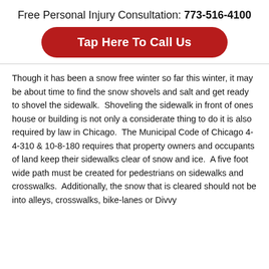Free Personal Injury Consultation: 773-516-4100
Tap Here To Call Us
Though it has been a snow free winter so far this winter, it may be about time to find the snow shovels and salt and get ready to shovel the sidewalk.  Shoveling the sidewalk in front of ones house or building is not only a considerate thing to do it is also required by law in Chicago.  The Municipal Code of Chicago 4-4-310 & 10-8-180 requires that property owners and occupants of land keep their sidewalks clear of snow and ice.  A five foot wide path must be created for pedestrians on sidewalks and crosswalks.  Additionally, the snow that is cleared should not be into alleys, crosswalks, bike-lanes or Divvy stations. City...